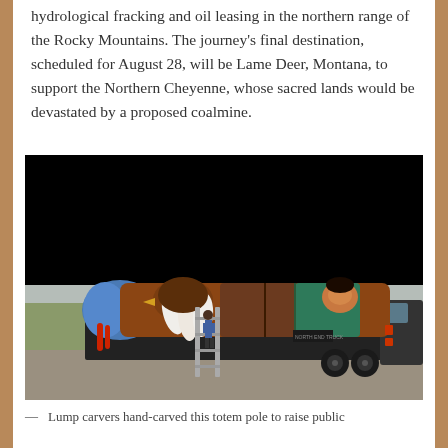hydrological fracking and oil leasing in the northern range of the Rocky Mountains. The journey's final destination, scheduled for August 28, will be Lame Deer, Montana, to support the Northern Cheyenne, whose sacred lands would be devastated by a proposed coalmine.
[Figure (photo): A large colorfully painted totem pole lying horizontally on a flatbed truck trailer, with a person standing on a ladder beside it. The totem pole features painted figures including an eagle with white feathers and a Native American figure. The scene is outdoors on gravel/pavement with a grassy area and hazy sky visible.]
— Lump carvers hand-carved this totem pole to raise public